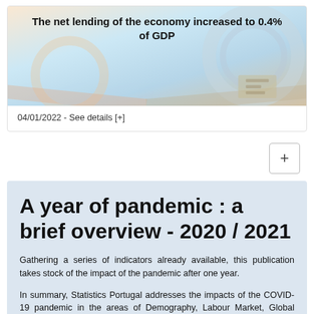[Figure (photo): Banner image with decorative currency/financial background graphic and bold text overlay]
The net lending of the economy increased to 0.4% of GDP
04/01/2022 - See details [+]
A year of pandemic : a brief overview - 2020 / 2021
Gathering a series of indicators already available, this publication takes stock of the impact of the pandemic after one year.
In summary, Statistics Portugal addresses the impacts of the COVID-19 pandemic in the areas of Demography, Labour Market, Global Economic Activity, Sectoral Economic Activity, Prices, Foreign...